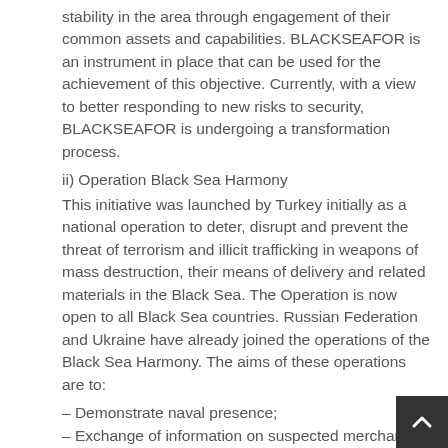stability in the area through engagement of their common assets and capabilities. BLACKSEAFOR is an instrument in place that can be used for the achievement of this objective. Currently, with a view to better responding to new risks to security, BLACKSEAFOR is undergoing a transformation process.
ii) Operation Black Sea Harmony
This initiative was launched by Turkey initially as a national operation to deter, disrupt and prevent the threat of terrorism and illicit trafficking in weapons of mass destruction, their means of delivery and related materials in the Black Sea. The Operation is now open to all Black Sea countries. Russian Federation and Ukraine have already joined the operations of the Black Sea Harmony. The aims of these operations are to:
– Demonstrate naval presence;
– Exchange of information on suspected merchant vessels;
– Conduct reconnaissance operations; and
– Trail or shadow suspected merchant vessels.
The Operation consists of regular patrols with frigates and patrol boats in pre-defined surveillance areas in the Black Sea. Utilizing modern reconnaissance techniques after long...